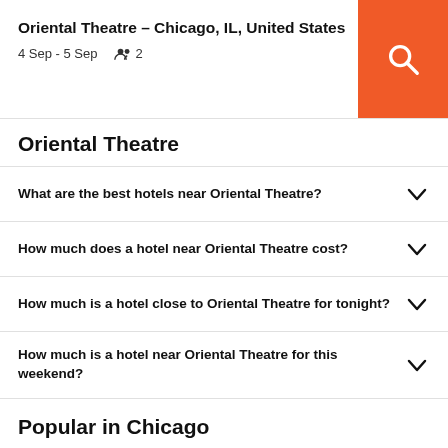Oriental Theatre – Chicago, IL, United States | 4 Sep - 5 Sep | 2 guests
Oriental Theatre
What are the best hotels near Oriental Theatre?
How much does a hotel near Oriental Theatre cost?
How much is a hotel close to Oriental Theatre for tonight?
How much is a hotel near Oriental Theatre for this weekend?
Popular in Chicago